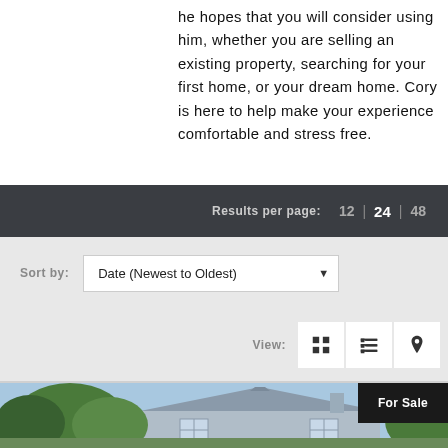he hopes that you will consider using him, whether you are selling an existing property, searching for your first home, or your dream home. Cory is here to help make your experience comfortable and stress free.
Results per page:  12  |  24  |  48
Sort by:  Date (Newest to Oldest)
View:
[Figure (screenshot): House exterior photo showing a blue/grey house with trees, partially visible at bottom of page. A 'For Sale' badge appears in the top-right corner of the photo.]